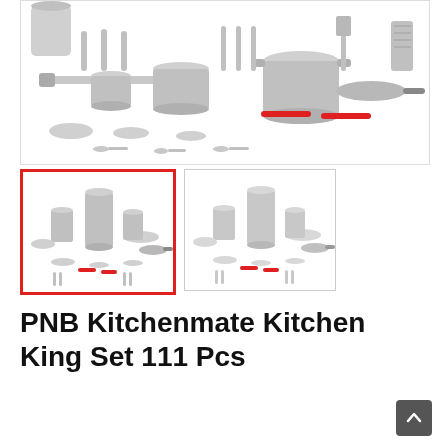[Figure (photo): Large product photo showing stainless steel kitchen cookware and utensil set spread out — pots, pans, spoons, ladles, measuring cups, and various kitchen tools in stainless steel with red accents]
[Figure (photo): Thumbnail 1 (selected, red border): PNB Kitchenmate Kitchen King Set stainless steel cookware collection photo]
[Figure (photo): Thumbnail 2: Same PNB Kitchenmate Kitchen King Set stainless steel cookware collection photo]
PNB Kitchenmate Kitchen King Set 111 Pcs